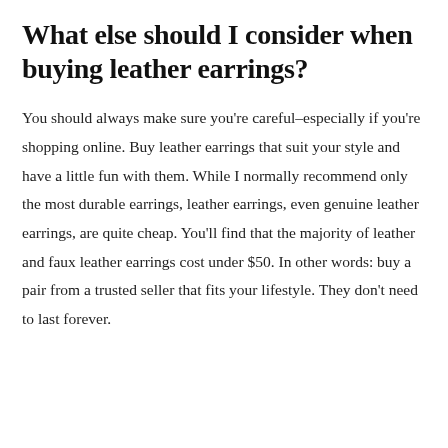What else should I consider when buying leather earrings?
You should always make sure you're careful–especially if you're shopping online. Buy leather earrings that suit your style and have a little fun with them. While I normally recommend only the most durable earrings, leather earrings, even genuine leather earrings, are quite cheap. You'll find that the majority of leather and faux leather earrings cost under $50. In other words: buy a pair from a trusted seller that fits your lifestyle. They don't need to last forever.